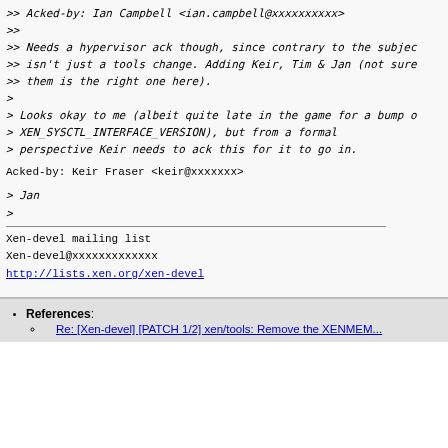>> Acked-by: Ian Campbell <ian.campbell@xxxxxxxxxx>
>>
>> Needs a hypervisor ack though, since contrary to the subjec
>> isn't just a tools change. Adding Keir, Tim & Jan (not sure
>> them is the right one here).
>
> Looks okay to me (albeit quite late in the game for a bump o
> XEN_SYSCTL_INTERFACE_VERSION), but from a formal
> perspective Keir needs to ack this for it to go in.
Acked-by: Keir Fraser <keir@xxxxxxx>
> Jan
>
Xen-devel mailing list
Xen-devel@xxxxxxxxxxxxx
http://lists.xen.org/xen-devel
References:
Re: [Xen-devel] [PATCH 1/2] xen/tools: Remove the XENMEM...